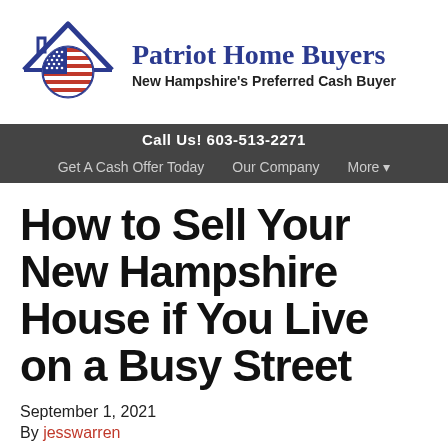[Figure (logo): Patriot Home Buyers logo: house outline in navy blue with American flag circle inside, next to company name 'Patriot Home Buyers' and tagline 'New Hampshire's Preferred Cash Buyer']
Call Us! 603-513-2271
Get A Cash Offer Today   Our Company   More ▾
How to Sell Your New Hampshire House if You Live on a Busy Street
September 1, 2021
By jesswarren